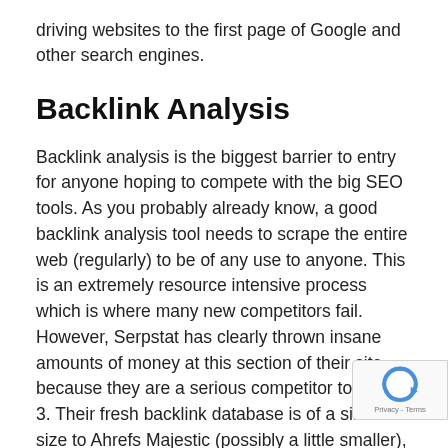driving websites to the first page of Google and other search engines.
Backlink Analysis
Backlink analysis is the biggest barrier to entry for anyone hoping to compete with the big SEO tools. As you probably already know, a good backlink analysis tool needs to scrape the entire web (regularly) to be of any use to anyone. This is an extremely resource intensive process which is where many new competitors fail. However, Serpstat has clearly thrown insane amounts of money at this section of their site because they are a serious competitor to the big 3. Their fresh backlink database is of a similar size to Ahrefs Majestic (possibly a little smaller), but this ma it much bigger and better than SEMrush's